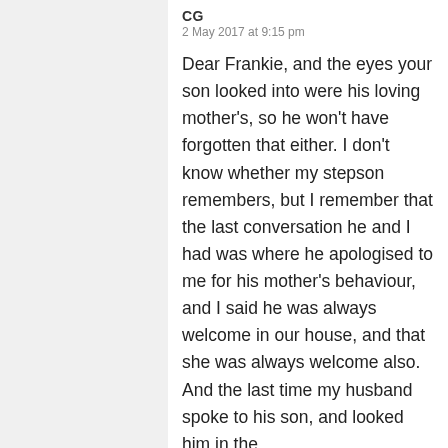CG
2 May 2017 at 9:15 pm
Dear Frankie, and the eyes your son looked into were his loving mother's, so he won't have forgotten that either. I don't know whether my stepson remembers, but I remember that the last conversation he and I had was where he apologised to me for his mother's behaviour, and I said he was always welcome in our house, and that she was always welcome also. And the last time my husband spoke to his son, and looked him in the